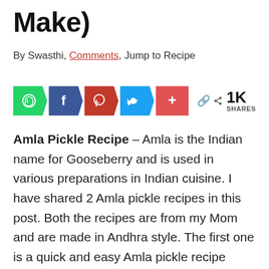Make)
By Swasthi, Comments, Jump to Recipe
[Figure (infographic): Social sharing bar with WhatsApp, Facebook, Pinterest, Twitter, and more buttons. Shows 1K SHARES count.]
Amla Pickle Recipe – Amla is the Indian name for Gooseberry and is used in various preparations in Indian cuisine. I have shared 2 Amla pickle recipes in this post. Both the recipes are from my Mom and are made in Andhra style. The first one is a quick and easy Amla pickle recipe